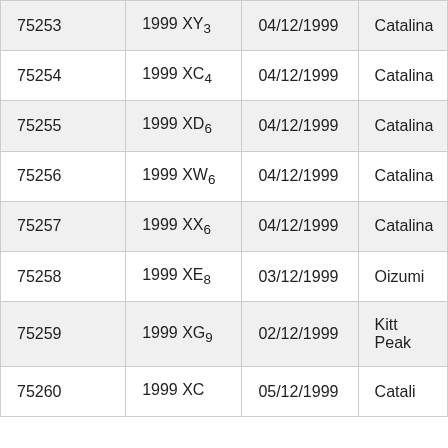| 75253 | 1999 XY₃ | 04/12/1999 | Catalina |
| 75254 | 1999 XC₄ | 04/12/1999 | Catalina |
| 75255 | 1999 XD₆ | 04/12/1999 | Catalina |
| 75256 | 1999 XW₆ | 04/12/1999 | Catalina |
| 75257 | 1999 XX₆ | 04/12/1999 | Catalina |
| 75258 | 1999 XE₈ | 03/12/1999 | Oizumi |
| 75259 | 1999 XG₉ | 02/12/1999 | Kitt Peak |
| 75260 | 1999 XC… | 05/12/1999 | Catali… |